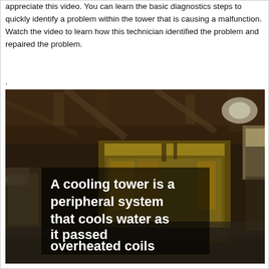appreciate this video. You can learn the basic diagnostics steps to quickly identify a problem within the tower that is causing a malfunction. Watch the video to learn how this technician identified the problem and repaired the problem.
.
[Figure (photo): Industrial cooling tower machinery photograph in a large building interior. Overlaid text in white bold font reads: 'A cooling tower is a peripheral system that cools water as it passed overheated coils']